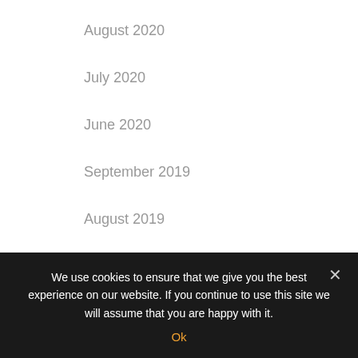August 2020
July 2020
June 2020
September 2019
August 2019
Categories
We use cookies to ensure that we give you the best experience on our website. If you continue to use this site we will assume that you are happy with it.
Ok